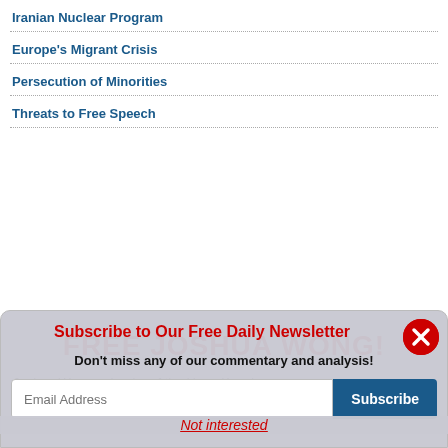Iranian Nuclear Program
Europe's Migrant Crisis
Persecution of Minorities
Threats to Free Speech
FREE JOSHUA WONG!
Joshua Wong, a leader of the Hong Kong's
Subscribe to Our Free Daily Newsletter
Don't miss any of our commentary and analysis!
Not interested